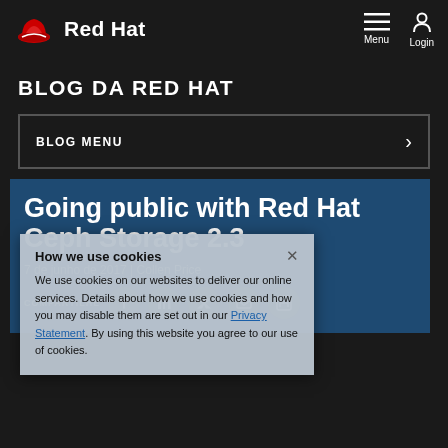Red Hat — Menu | Login
BLOG DA RED HAT
BLOG MENU
Going public with Red Hat Ceph Storage 2.3
7 de junho de 2017 | Collen Price
COMPARTILHE
How we use cookies — We use cookies on our websites to deliver our online services. Details about how we use cookies and how you may disable them are set out in our Privacy Statement. By using this website you agree to our use of cookies.